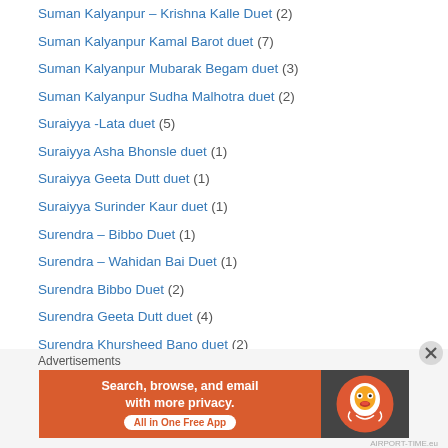Suman Kalyanpur – Krishna Kalle Duet (2)
Suman Kalyanpur Kamal Barot duet (7)
Suman Kalyanpur Mubarak Begam duet (3)
Suman Kalyanpur Sudha Malhotra duet (2)
Suraiyya -Lata duet (5)
Suraiyya Asha Bhonsle duet (1)
Suraiyya Geeta Dutt duet (1)
Suraiyya Surinder Kaur duet (1)
Surendra – Bibbo Duet (1)
Surendra – Wahidan Bai Duet (1)
Surendra Bibbo Duet (2)
Surendra Geeta Dutt duet (4)
Surendra Khursheed Bano duet (2)
Surendra Naseem Akhtar duet (1)
Surendra Noorjahaan duet (2)
Surendra Parul Ghosh duet (2)
Surendra Zohrabai Ambalewali (2)
Advertisements
[Figure (other): DuckDuckGo advertisement banner: orange background with text 'Search, browse, and email with more privacy. All in One Free App' and DuckDuckGo duck logo on dark background]